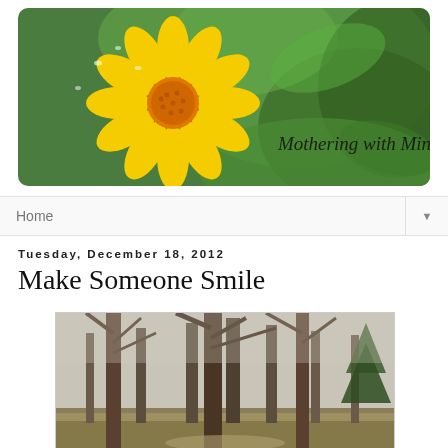[Figure (photo): Blog header banner showing a yellow daisy flower with water droplets on the left, blurred green foliage on the right, with cursive text 'Mothering with Mindfulness' overlaid on the right side]
Home
Tuesday, December 18, 2012
Make Someone Smile
[Figure (photo): Outdoor winter forest scene showing bare deciduous trees and evergreen trees along a path or road, with brown grass and overcast sky]